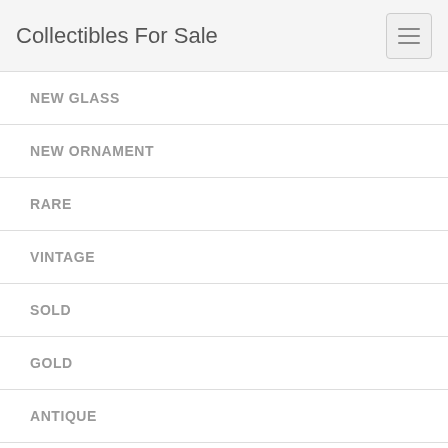Collectibles For Sale
NEW GLASS
NEW ORNAMENT
RARE
VINTAGE
SOLD
GOLD
ANTIQUE
SIGNED
ORIGINAL
CHRISTMAS
LIMITED
EDITION